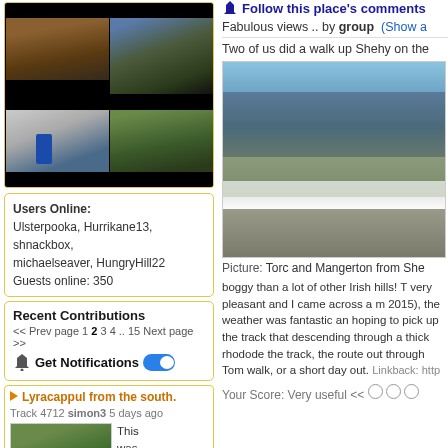[Figure (photo): Grid of 4 mountain landscape photos]
Users Online:
Ulsterpooka, Hurrikane13, shnackbox, michaelseaver, HungryHill22
Guests online: 350
Recent Contributions
<< Prev page 1 2 3 4 .. 15 Next page >>
Get Notifications
Lyracappul from the south.
Track 4712 simon3 5 days ago
[Figure (photo): Mountain ridge photo thumbnail]
This was short trip to the main
Follow this place's comments
Fabulous views .. by group (Show a
Two of us did a walk up Shehy on the
[Figure (photo): Torc and Mangerton from Shehy mountain landscape photo]
Picture: Torc and Mangerton from She
boggy than a lot of other Irish hills! T very pleasant and I came across a m 2015), the weather was fantastic an hoping to pick up the track that descending through a thick rhodode the track, the route out through Tom walk, or a short day out. Linkback: http
Your Score: Very useful <<